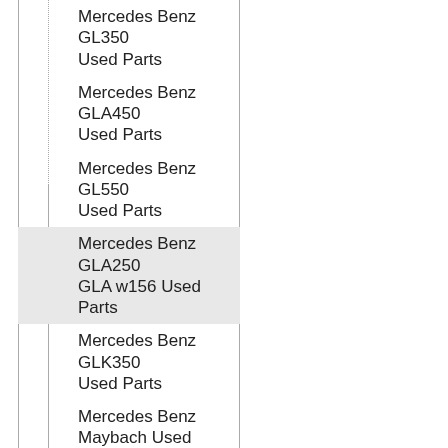Mercedes Benz GL350 Used Parts
Mercedes Benz GLA450 Used Parts
Mercedes Benz GL550 Used Parts
Mercedes Benz GLA250 GLA w156 Used Parts
Mercedes Benz GLK350 Used Parts
Mercedes Benz Maybach Used Parts
Mercedes Benz ML320 Used Parts
Mercedes Benz ML350 Used Parts
Mercedes Benz ML430 Used Parts
Mercedes Benz ML500 Used Parts
Mercedes Benz ML550 Used Parts
Mercedes Benz R350 Used Parts
Mercedes Benz S320